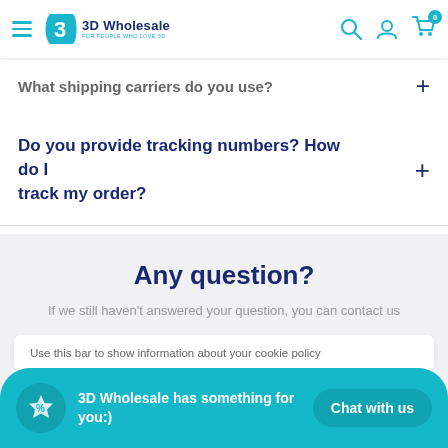3D Wholesale — FOR PEOPLE WHO LOVE 3D — navigation bar with search, account, cart icons
What shipping carriers do you use?
Do you provide tracking numbers? How do I track my order?
Any question?
If we still haven't answered your question, you can contact us
Use this bar to show information about your cookie policy
3D Wholesale has something for you:)
Chat with us